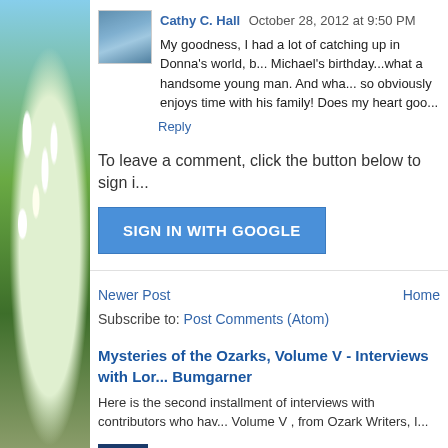[Figure (photo): Left sidebar with blossoming white flowers and blue sky background, vertical strip]
[Figure (photo): Small avatar profile photo of a woman with sunglasses]
Cathy C. Hall  October 28, 2012 at 9:50 PM
My goodness, I had a lot of catching up in Donna's world, b... Michael's birthday...what a handsome young man. And wha... so obviously enjoys time with his family! Does my heart goo...
Reply
To leave a comment, click the button below to sign i...
SIGN IN WITH GOOGLE
Newer Post
Home
Subscribe to: Post Comments (Atom)
Mysteries of the Ozarks, Volume V - Interviews with Lor... Bumgarner
Here is the second installment of interviews with contributors who hav... Volume V , from Ozark Writers, I...
[Figure (photo): Small thumbnail with American flags]
Memorial Day Remembrances and In Flanders Fiel...